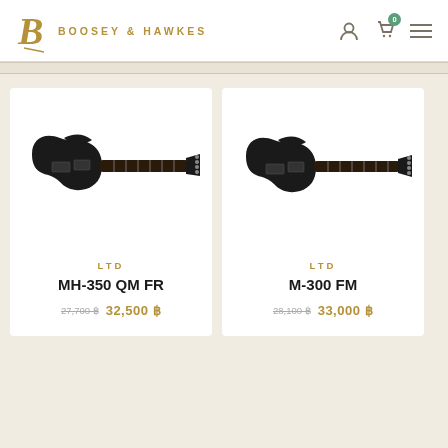Boosey & Hawkes
[Figure (photo): LTD MH-350 QM FR electric guitar in black finish]
LTD
MH-350 QM FR
27,700 ฿  32,500 ฿
[Figure (photo): LTD M-300 FM electric guitar in black finish]
LTD
M-300 FM
28,100 ฿  33,000 ฿